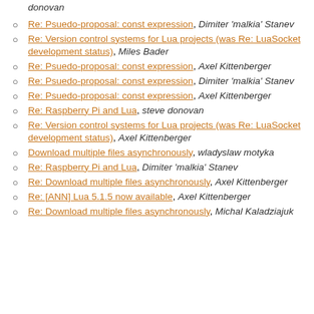donovan
Re: Psuedo-proposal: const expression, Dimiter 'malkia' Stanev
Re: Version control systems for Lua projects (was Re: LuaSocket development status), Miles Bader
Re: Psuedo-proposal: const expression, Axel Kittenberger
Re: Psuedo-proposal: const expression, Dimiter 'malkia' Stanev
Re: Psuedo-proposal: const expression, Axel Kittenberger
Re: Raspberry Pi and Lua, steve donovan
Re: Version control systems for Lua projects (was Re: LuaSocket development status), Axel Kittenberger
Download multiple files asynchronously, wladyslaw motyka
Re: Raspberry Pi and Lua, Dimiter 'malkia' Stanev
Re: Download multiple files asynchronously, Axel Kittenberger
Re: [ANN] Lua 5.1.5 now available, Axel Kittenberger
Re: Download multiple files asynchronously, Michal Kaladziajuk